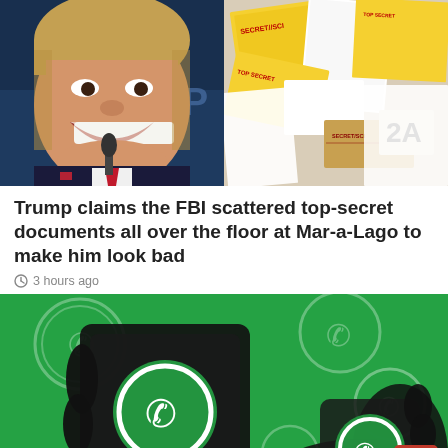[Figure (photo): Left half: Donald Trump laughing with mouth wide open, wearing dark suit and red tie, in front of a microphone. Right half: Top-secret government documents scattered on floor with yellow SECRET/SCI cover sheets and a label reading '2A'.]
Trump claims the FBI scattered top-secret documents all over the floor at Mar-a-Lago to make him look bad
3 hours ago
[Figure (photo): WhatsApp logo silhouette on a green background. A dark silhouette of hands holding a phone with WhatsApp logo visible, surrounded by multiple WhatsApp logos on a bright green background.]